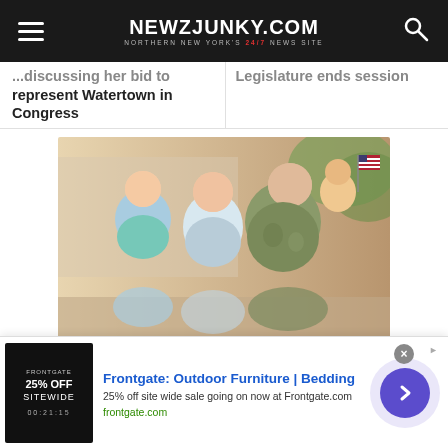NEWZJUNKY.COM — Northern New York's 24/7 News Site
...discussing her bid to represent Watertown in Congress
Legislature ends session
[Figure (photo): A military family smiling together outdoors — a man in camouflage uniform, a woman, a young girl, and a young boy holding a small American flag]
[Figure (infographic): Advertisement: Frontgate: Outdoor Furniture | Bedding — 25% off site wide sale going on now at Frontgate.com — frontgate.com]